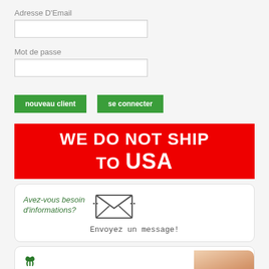Adresse D'Email
[Figure (other): Email input text field (empty)]
Mot de passe
[Figure (other): Password input text field (empty)]
[Figure (other): Two green buttons: 'nouveau client' and 'se connecter']
[Figure (infographic): Red banner with white bold text: WE DO NOT SHIP TO USA]
[Figure (infographic): White rounded box with green italic text: Avez-vous besoin d'informations? with envelope icon, and monospace text: Envoyez un message!]
[Figure (logo): White rounded box with Xenical logo (blue text, green leaf icon) and a woman with blonde hair]